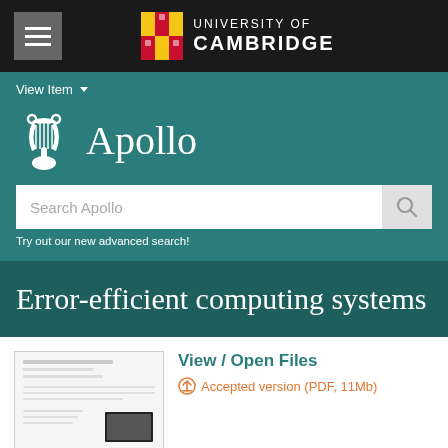[Figure (logo): University of Cambridge logo with shield and text in white on black navigation bar]
View Item ▾
[Figure (logo): Apollo repository logo with lyre icon and word Apollo in white on teal background]
Search Apollo
Try out our new advanced search!
Error-efficient computing systems
[Figure (screenshot): Thumbnail preview of a document page]
View / Open Files
Accepted version (PDF, 11Mb)